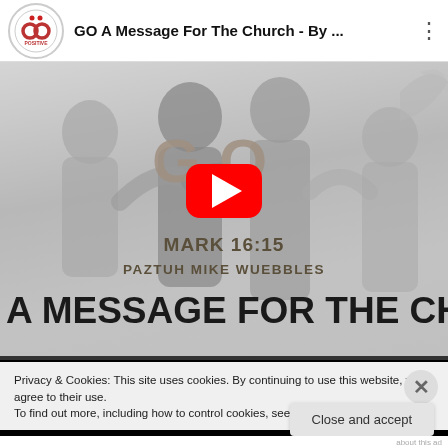GO A Message For The Church - By ...
[Figure (screenshot): YouTube video thumbnail showing silhouetted figures in prayer/group setting with 'GO MARK 16:15' logo, red YouTube play button overlay, text 'PAZTUH MIKE WUEBBLES' and 'A MESSAGE FOR THE CHURCH']
Privacy & Cookies: This site uses cookies. By continuing to use this website, you agree to their use.
To find out more, including how to control cookies, see here: Cookie Policy
Close and accept